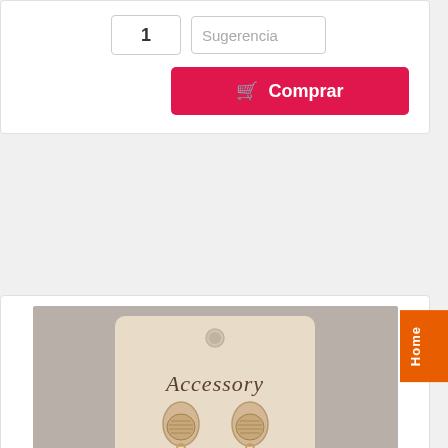1
Sugerencia
🛒 Comprar
[Figure (photo): Gold earrings with cowrie shell and starfish charms displayed on an 'Accessory' branded card]
[AR-51-546] ARO DORADO CON ESTRELLA DE MAR
Home